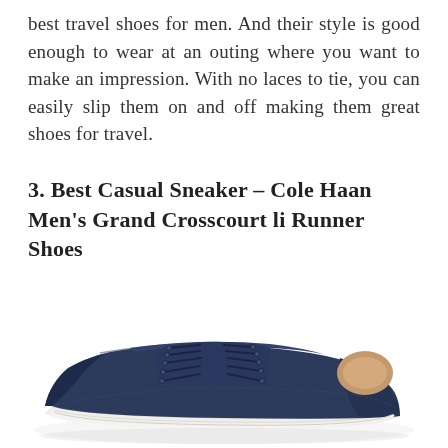best travel shoes for men. And their style is good enough to wear at an outing where you want to make an impression. With no laces to tie, you can easily slip them on and off making them great shoes for travel.
3. Best Casual Sneaker – Cole Haan Men's Grand Crosscourt li Runner Shoes
[Figure (photo): A navy blue leather sneaker (Cole Haan Men's Grand Crosscourt li Runner Shoes) with dark navy laces and a white sole, shown against a white background.]